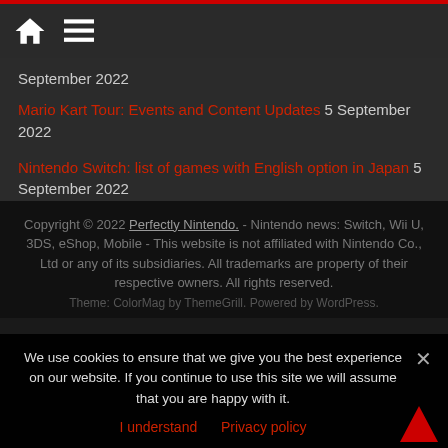Navigation header with home and menu icons
September 2022
Mario Kart Tour: Events and Content Updates 5 September 2022
Nintendo Switch: list of games with English option in Japan 5 September 2022
Copyright © 2022 Perfectly Nintendo. - Nintendo news: Switch, Wii U, 3DS, eShop, Mobile - This website is not affiliated with Nintendo Co., Ltd or any of its subsidiaries. All trademarks are property of their respective owners. All rights reserved. Theme: ColorMag by ThemeGrill. Powered by WordPress.
We use cookies to ensure that we give you the best experience on our website. If you continue to use this site we will assume that you are happy with it.
I understand  Privacy policy